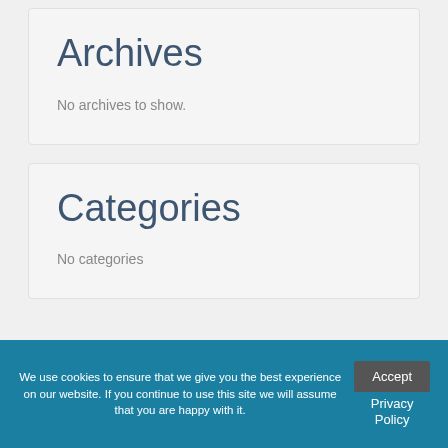Archives
No archives to show.
Categories
No categories
We use cookies to ensure that we give you the best experience on our website. If you continue to use this site we will assume that you are happy with it.